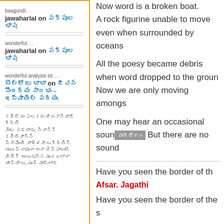baagundi... jawaharlal on పక్షుల భాష
wonderful... jawaharlal on పక్షుల భాష
wonderful analysis sir... బొల్లోజు బాబా on జీవన సౌందర్య సారభం – ఇస్మాయిల్ పద్యం.
కవిత్వం పలకడం చేతకానివాడే కీర్తి వెంట పడతాడు. నిజానికి కవిత్వాన్ని ప్రేమించే వాళ్ళవారు కీర్తిని తృణప్రాయంగా ఇంకా చెప్పాలంటే చేతికి అందుకున్న మురదలాగా చూస్తారు, మురి మాట్లాడ
Now word is a broken boat. A rock figurine unable to move even when surrounded by oceans
All the poesy became debris when word dropped to the ground. Now we are only moving amongs
One may hear an occasional sounc
But there are no sound
Have you seen the border of th
Afsar. Jagathi
Have you seen the border of the s
~
I don't know what would you say s
My sky is edged in green